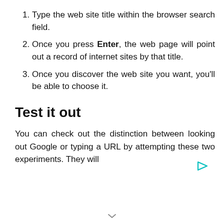Type the web site title within the browser search field.
Once you press Enter, the web page will point out a record of internet sites by that title.
Once you discover the web site you want, you'll be able to choose it.
Test it out
You can check out the distinction between looking out Google or typing a URL by attempting these two experiments. They will